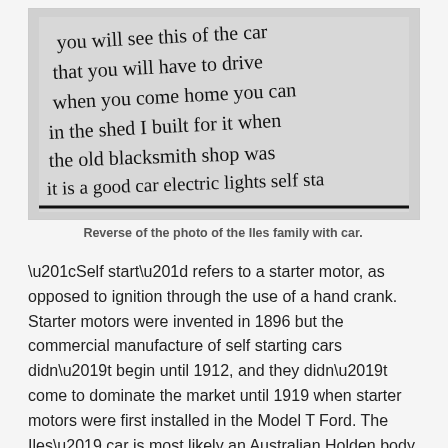[Figure (photo): Black and white photograph showing the reverse side of a photo with handwritten cursive text reading: 'you will see this of the car that you will have to drive when you come home you can in the shed I built for it when the old blacksmith shop was it is a good car electric lights self sta']
Reverse of the photo of the Iles family with car.
“Self start” refers to a starter motor, as opposed to ignition through the use of a hand crank. Starter motors were invented in 1896 but the commercial manufacture of self starting cars didn’t begin until 1912, and they didn’t come to dominate the market until 1919 when starter motors were first installed in the Model T Ford. The Iles’ car is most likely an Australian Holden body on an American or British chassis. In 1917, war-related restrictions on foreign luxury goods allowed the importation of many more